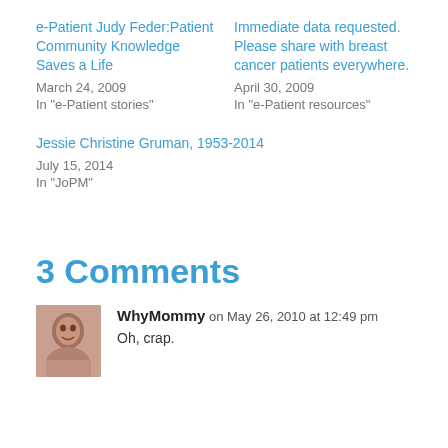e-Patient Judy Feder:Patient Community Knowledge Saves a Life
March 24, 2009
In "e-Patient stories"
Immediate data requested. Please share with breast cancer patients everywhere.
April 30, 2009
In "e-Patient resources"
Jessie Christine Gruman, 1953-2014
July 15, 2014
In "JoPM"
3 Comments
WhyMommy on May 26, 2010 at 12:49 pm
Oh, crap.